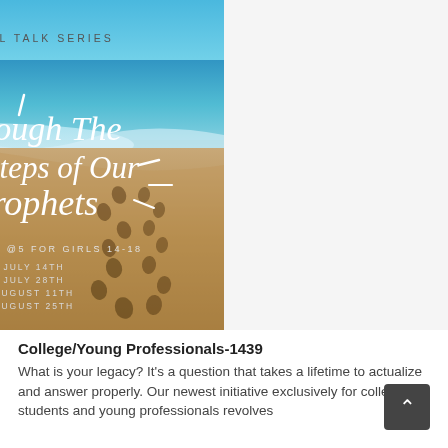[Figure (illustration): ICN Youth Real Talk Series event flyer. Beach background with ocean waves and footprints in sand. Features a white logo box with green circle logo for ICN Youth, the text 'REAL TALK SERIES', and a cursive title 'Through The Footsteps of Our Prophets'. Event details: SATURDAYS @5 FOR GIRLS 14-18, dates JULY 14TH, JULY 28TH, AUGUST 11TH, AUGUST 25TH. White decorative tick marks around title.]
College/Young Professionals-1439
What is your legacy? It's a question that takes a lifetime to actualize and answer properly. Our newest initiative exclusively for college students and young professionals revolves